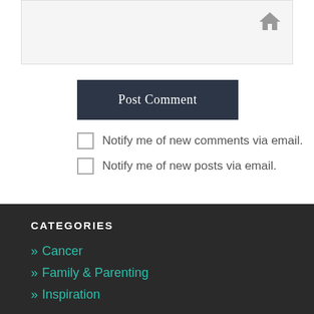[Figure (screenshot): Top image area with a home icon in the upper right corner on a light gray background]
Post Comment
Notify me of new comments via email.
Notify me of new posts via email.
CATEGORIES
» Cancer
» Family & Parenting
» Inspiration